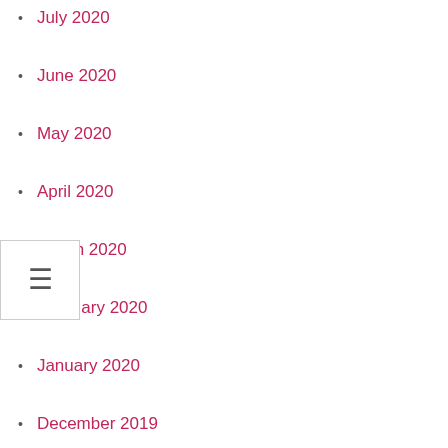July 2020
June 2020
May 2020
April 2020
March 2020
February 2020
January 2020
December 2019
November 2019
October 2019
September 2019
August 2019
July 2019
June 2019
May 2019
April 2019
March 2019
February 2019
January 2019